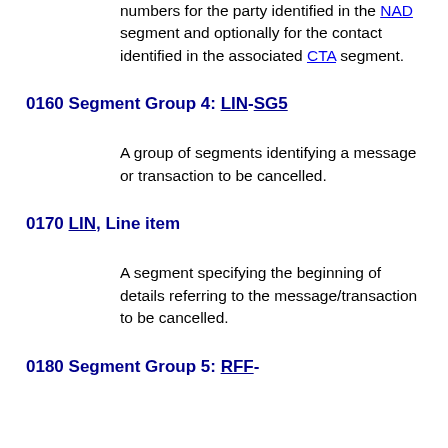numbers for the party identified in the NAD segment and optionally for the contact identified in the associated CTA segment.
0160 Segment Group 4: LIN-SG5
A group of segments identifying a message or transaction to be cancelled.
0170 LIN, Line item
A segment specifying the beginning of details referring to the message/transaction to be cancelled.
0180 Segment Group 5: RFF-